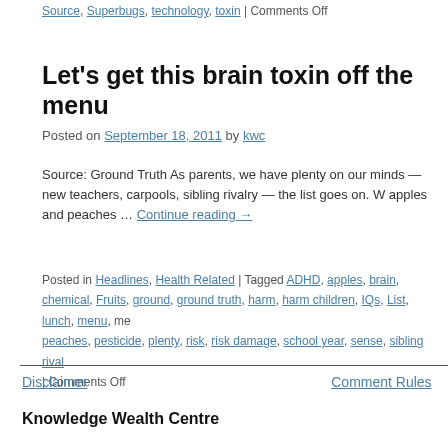Source, Superbugs, technology, toxin | Comments Off
Let’s get this brain toxin off the menu
Posted on September 18, 2011 by kwc
Source: Ground Truth As parents, we have plenty on our minds — new teachers, carpools, sibling rivalry — the list goes on. We apples and peaches … Continue reading →
Posted in Headlines, Health Related | Tagged ADHD, apples, brain, chemical, Fruits, ground, ground truth, harm, harm children, IQs, List, lunch, menu, me, peaches, pesticide, plenty, risk, risk damage, school year, sense, sibling rival | Comments Off
Disclaimer    Comment Rules
Knowledge Wealth Centre